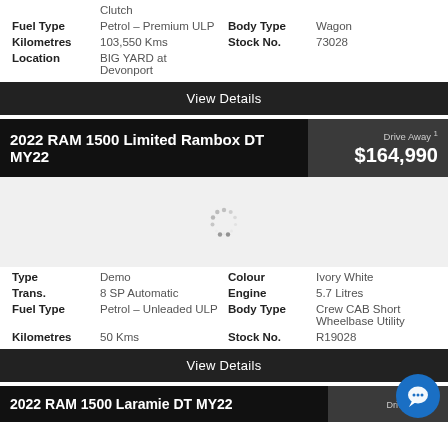| Fuel Type | Petrol – Premium ULP | Body Type | Wagon |
| Kilometres | 103,550 Kms | Stock No. | 73028 |
| Location | BIG YARD at Devonport |  |  |
View Details
2022 RAM 1500 Limited Rambox DT MY22
Drive Away 1 $164,990
[Figure (other): Loading spinner/placeholder for vehicle image]
| Type | Demo | Colour | Ivory White |
| Trans. | 8 SP Automatic | Engine | 5.7 Litres |
| Fuel Type | Petrol – Unleaded ULP | Body Type | Crew CAB Short Wheelbase Utility |
| Kilometres | 50 Kms | Stock No. | R19028 |
View Details
2022 RAM 1500 Laramie DT MY22
Drive Away 1